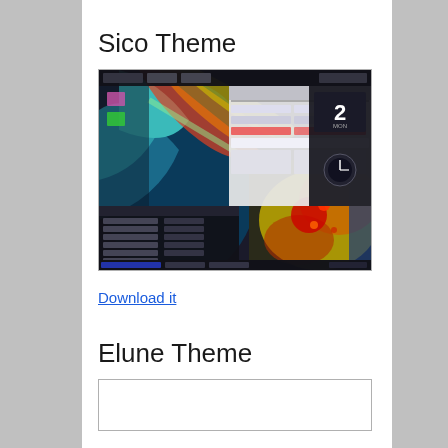Sico Theme
[Figure (screenshot): Screenshot of Windows desktop with Sico theme applied, showing colorful abstract wallpaper with rainbow/earth imagery, Start menu open, and system windows with dark UI elements and clock/calendar widgets.]
Download it
Elune Theme
[Figure (screenshot): Partially visible screenshot of Elune theme, mostly white/blank at page bottom.]